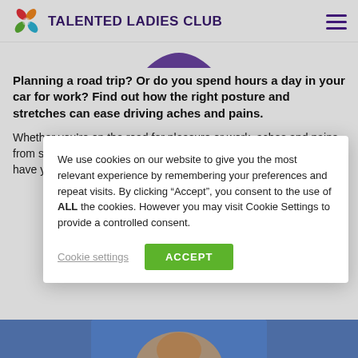TALENTED LADIES CLUB
Planning a road trip? Or do you spend hours a day in your car for work? Find out how the right posture and stretches can ease driving aches and pains.
Whether you’re on the road for pleasure or work, aches and pains from sitting and driving for long periods can seem inevitable. But have you ever considered that how you’re sitt…s?
Us… ke… fo… po… yo… of…
We use cookies on our website to give you the most relevant experience by remembering your preferences and repeat visits. By clicking “Accept”, you consent to the use of ALL the cookies. However you may visit Cookie Settings to provide a controlled consent.
Cookie settings
ACCEPT
[Figure (photo): Bottom strip showing partial photo of a person, blue background]